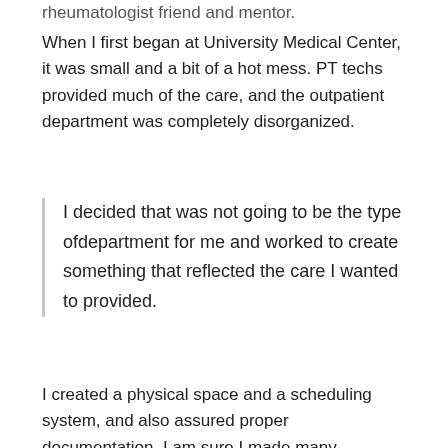rheumatologist friend and mentor.
When I first began at University Medical Center, it was small and a bit of a hot mess. PT techs provided much of the care, and the outpatient department was completely disorganized.
I decided that was not going to be the type ofdepartment for me and worked to create something that reflected the care I wanted to provided.
I created a physical space and a scheduling system, and also assured proper documentation. I am sure I made many mistakes, but I also learned so much.